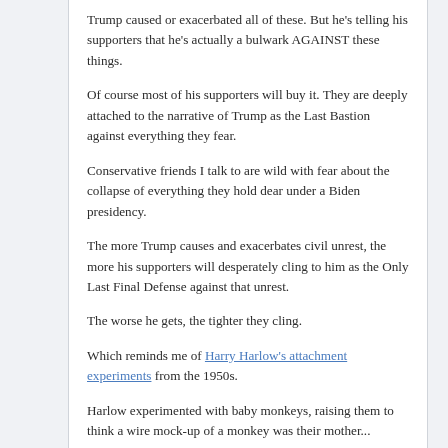Trump caused or exacerbated all of these. But he's telling his supporters that he's actually a bulwark AGAINST these things.
Of course most of his supporters will buy it. They are deeply attached to the narrative of Trump as the Last Bastion against everything they fear.
Conservative friends I talk to are wild with fear about the collapse of everything they hold dear under a Biden presidency.
The more Trump causes and exacerbates civil unrest, the more his supporters will desperately cling to him as the Only Last Final Defense against that unrest.
The worse he gets, the tighter they cling.
Which reminds me of Harry Harlow's attachment experiments from the 1950s.
Harlow experimented with baby monkeys, raising them to think a wire mock-up of a monkey was their mother...
These 1950s experiments showed us the trauma of parent-child separation. Now experts say they're too unethical to repeat—even on